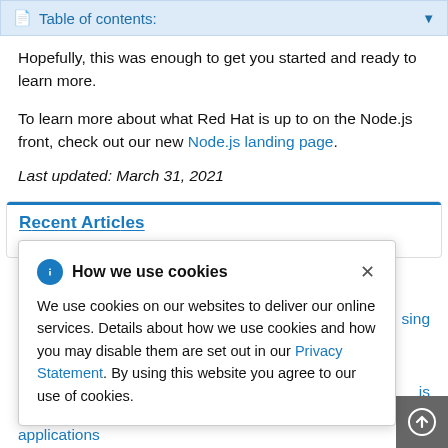Table of contents:
Hopefully, this was enough to get you started and ready to learn more.
To learn more about what Red Hat is up to on the Node.js front, check out our new Node.js landing page.
Last updated: March 31, 2021
Recent Articles
How we use cookies — We use cookies on our websites to deliver our online services. Details about how we use cookies and how you may disable them are set out in our Privacy Statement. By using this website you agree to our use of cookies.
applications